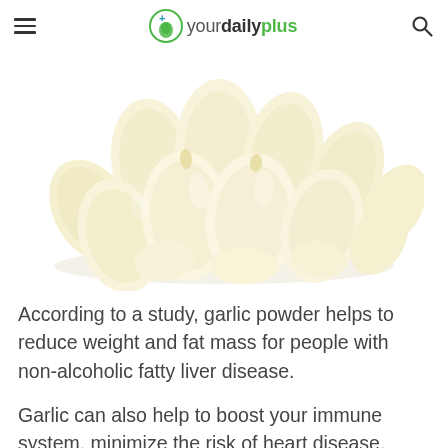yourdailyplus
[Figure (photo): A pile of peeled garlic cloves on a white background]
According to a study, garlic powder helps to reduce weight and fat mass for people with non-alcoholic fatty liver disease.
Garlic can also help to boost your immune system, minimize the risk of heart disease, lower blood pressure, increase your